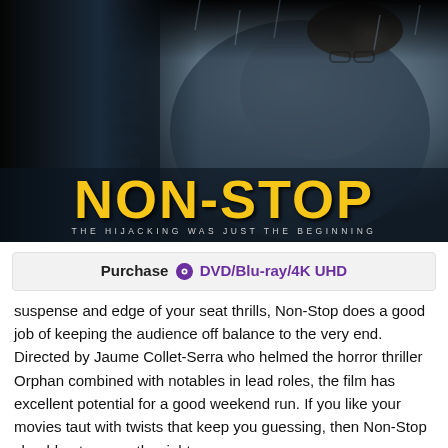[Figure (photo): Movie poster for Non-Stop featuring a male figure and the title 'NON-STOP' in large yellow text with tagline 'THE HIJACKING WAS JUST THE BEGINNING']
Purchase ⊙ DVD/Blu-ray/4K UHD
suspense and edge of your seat thrills, Non-Stop does a good job of keeping the audience off balance to the very end.   Directed by Jaume Collet-Serra who helmed the horror thriller Orphan combined with notables in lead roles, the film has excellent potential for a good weekend run.  If you like your movies taut with twists that keep you guessing, then Non-Stop should put you on the right runway.
A troubled Bill Marks (Liam Neeson) who has been battling